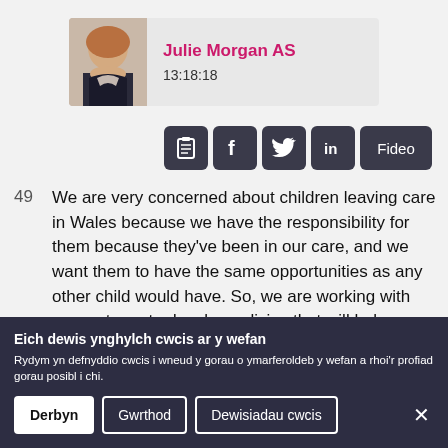[Figure (photo): Headshot photo of Julie Morgan AS, a woman with blonde/auburn hair wearing a dark jacket]
Julie Morgan AS
13:18:18
[Figure (infographic): Row of social sharing icons: clipboard/transcript, Facebook, Twitter, LinkedIn, and a Fideo (video) button]
49  We are very concerned about children leaving care in Wales because we have the responsibility for them because they've been in our care, and we want them to have the same opportunities as any other child would have. So, we are working with our partners to develop policies that will help care
Eich dewis ynghylch cwcis ar y wefan
Rydym yn defnyddio cwcis i wneud y gorau o ymarferoldeb y wefan a rhoi'r profiad gorau posibl i chi.
Derbyn   Gwrthod   Dewisiadau cwcis